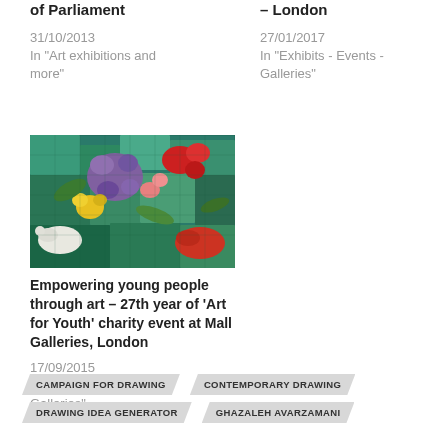of Parliament
31/10/2013
In "Art exhibitions and more"
– London
27/01/2017
In "Exhibits - Events - Galleries"
[Figure (photo): Colourful mosaic or stained glass artwork with flowers and birds in teal, purple, yellow, red tones]
Empowering young people through art – 27th year of 'Art for Youth' charity event at Mall Galleries, London
17/09/2015
In "Exhibits - Events - Galleries"
CAMPAIGN FOR DRAWING
CONTEMPORARY DRAWING
DRAWING IDEA GENERATOR
GHAZALEH AVARZAMANI